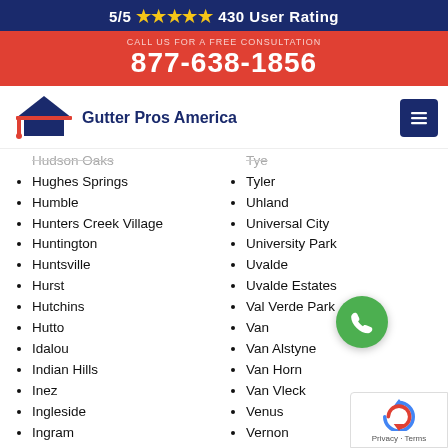5/5 ★★★★★ 430 User Rating
877-638-1856
[Figure (logo): Gutter Pros America logo with house/roof icon and red/blue text]
Hudson Oaks
Hughes Springs
Humble
Hunters Creek Village
Huntington
Huntsville
Hurst
Hutchins
Hutto
Idalou
Indian Hills
Inez
Ingleside
Ingram
Tye
Tyler
Uhland
Universal City
University Park
Uvalde
Uvalde Estates
Val Verde Park
Van
Van Alstyne
Van Horn
Van Vleck
Venus
Vernon